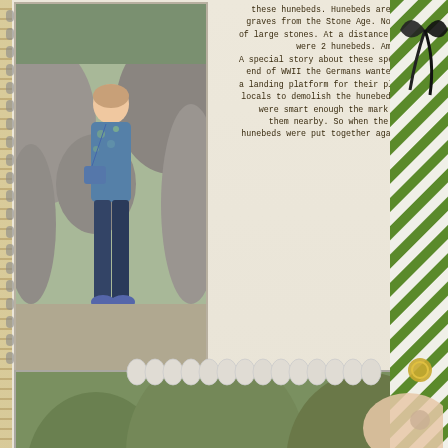[Figure (photo): Woman standing among large boulders/hunebeds, wearing blue floral top and blue jeans with blue bag]
these hunebeds. Hunebeds are co... graves from the Stone Age. Now it... of large stones. At a distance of 10... were 2 hunebeds. Amaz... A special story about these specific... end of WWII the Germans wanted to... a landing platform for their planes.... locals to demolish the hunebeds. Bu... were smart enough the mark every... them nearby. So when the war w... hunebeds were put together again in...
[Figure (photo): Large megalithic hunebed (dolmen) structure made of massive boulders arranged as a prehistoric grave monument, with trees in background]
[Figure (illustration): Decorative scrapbook elements: green and white striped paper, black ribbon/bow, mint flower embellishment, butterfly, gold ring brad, white sequins/buttons]